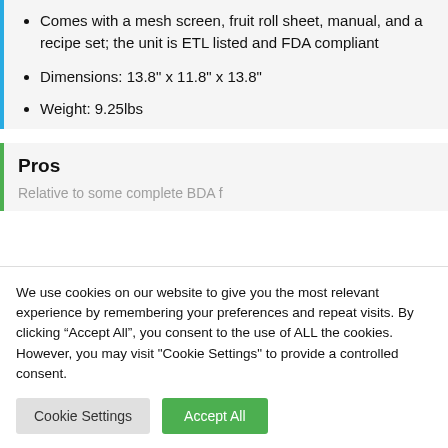Comes with a mesh screen, fruit roll sheet, manual, and a recipe set; the unit is ETL listed and FDA compliant
Dimensions: 13.8" x 11.8" x 13.8"
Weight: 9.25lbs
Pros
We use cookies on our website to give you the most relevant experience by remembering your preferences and repeat visits. By clicking “Accept All”, you consent to the use of ALL the cookies. However, you may visit "Cookie Settings" to provide a controlled consent.